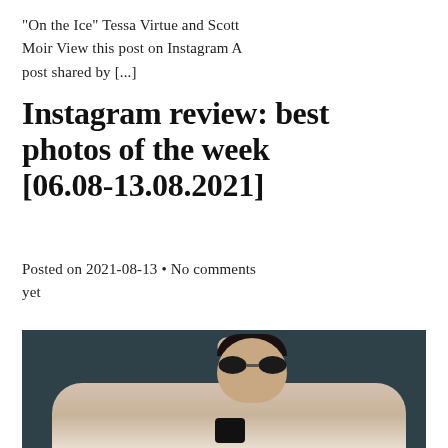“On the Ice” Tessa Virtue and Scott Moir View this post on Instagram A post shared by […]
Instagram review: best photos of the week [06.08-13.08.2021]
Posted on 2021-08-13 • No comments yet
[Figure (photo): A man with dark sunglasses taking a mirror selfie with one hand raised to his head, wearing a light striped shirt, dark teal background]